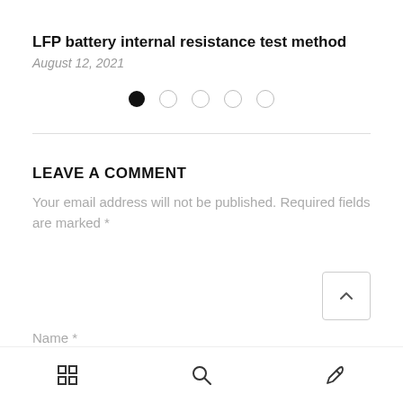LFP battery internal resistance test method
August 12, 2021
[Figure (other): Pagination dots: one filled (active) and four empty circles]
LEAVE A COMMENT
Your email address will not be published. Required fields are marked *
Name *
Grid icon | Search icon | Pen icon